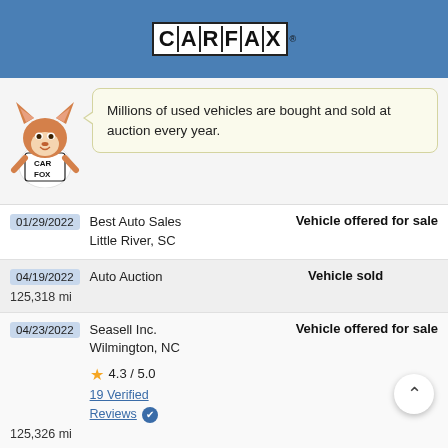CARFAX
[Figure (illustration): CARFAX mascot fox character in white t-shirt with speech bubble saying 'Millions of used vehicles are bought and sold at auction every year.']
| Date | Source | Comments |
| --- | --- | --- |
| 01/29/2022 | Best Auto Sales
Little River, SC | Vehicle offered for sale |
| 04/19/2022
125,318 mi | Auto Auction | Vehicle sold |
| 04/23/2022
125,326 mi | Seasell Inc.
Wilmington, NC
★ 4.3 / 5.0
19 Verified Reviews ✔ | Vehicle offered for sale |
Owner 3
Purchased: 2022
Personal Vehicle
Source    Comments